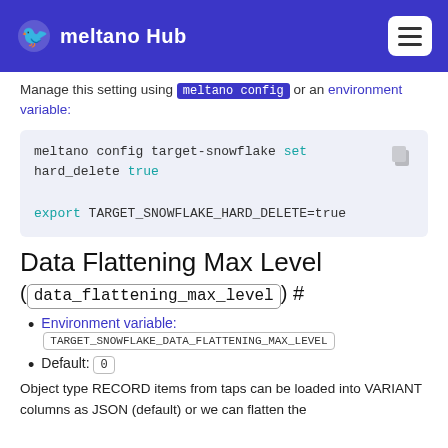meltano Hub
Manage this setting using meltano config or an environment variable:
meltano config target-snowflake set hard_delete true

export TARGET_SNOWFLAKE_HARD_DELETE=true
Data Flattening Max Level
(data_flattening_max_level) #
Environment variable: TARGET_SNOWFLAKE_DATA_FLATTENING_MAX_LEVEL
Default: 0
Object type RECORD items from taps can be loaded into VARIANT columns as JSON (default) or we can flatten the